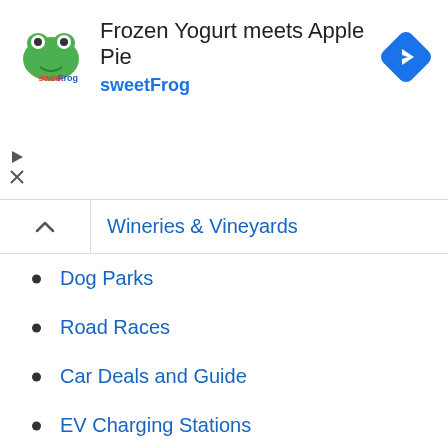[Figure (infographic): Advertisement banner for sweetFrog - Frozen Yogurt meets Apple Pie. Shows sweetFrog logo on left, title text in center, and blue navigation/directions diamond icon on right.]
Wineries & Vineyards
Dog Parks
Road Races
Car Deals and Guide
EV Charging Stations
Museums
Nature Centers
Parks
Botanical Gardens
Hiking
Skateparks